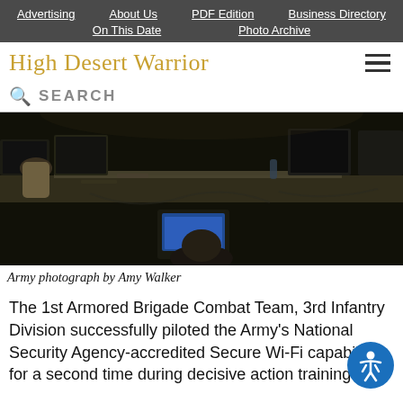Advertising | About Us | PDF Edition | Business Directory | On This Date | Photo Archive
High Desert Warrior
SEARCH
[Figure (photo): Military personnel working at computers and laptops in a tactical operations center, Army photograph by Amy Walker]
Army photograph by Amy Walker
The 1st Armored Brigade Combat Team, 3rd Infantry Division successfully piloted the Army's National Security Agency-accredited Secure Wi-Fi capability for a second time during decisive action training at